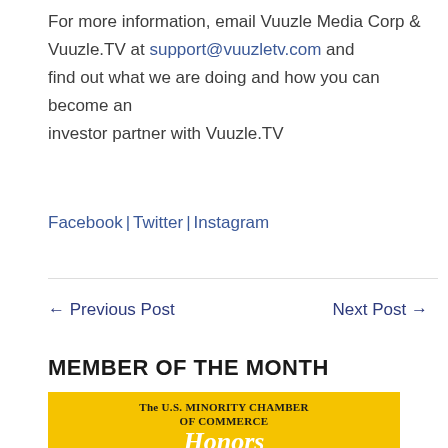For more information, email Vuuzle Media Corp & Vuuzle.TV at support@vuuzletv.com and find out what we are doing and how you can become an investor partner with Vuuzle.TV
Facebook | Twitter | Instagram
← Previous Post    Next Post →
MEMBER OF THE MONTH
[Figure (illustration): Yellow background promotional image for The U.S. Minority Chamber of Commerce Honors, with cursive 'Honors' text in white and a partially visible person below.]